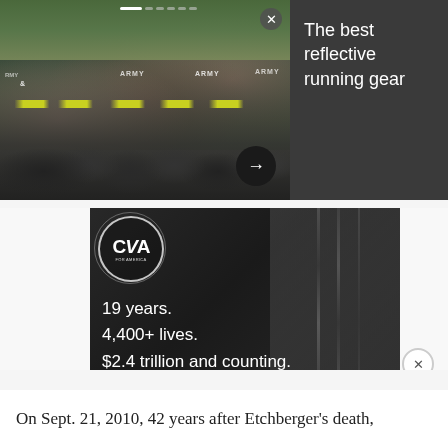[Figure (photo): Top advertisement: Army soldiers running in formation wearing black shorts and gray ARMY shirts with yellow belts. Right side has dark gray background with white text reading 'The best reflective running gear'. Navigation dots and arrow button visible.]
[Figure (photo): Bottom advertisement from CVA (Concerned Veterans for America): Dark background with dog tags/chains. Text reads '19 years. 4,400+ lives. $2.4 trillion and counting. BRING OUR TROOPS HOME'. CVA circular logo in top left.]
On Sept. 21, 2010, 42 years after Etchberger's death,